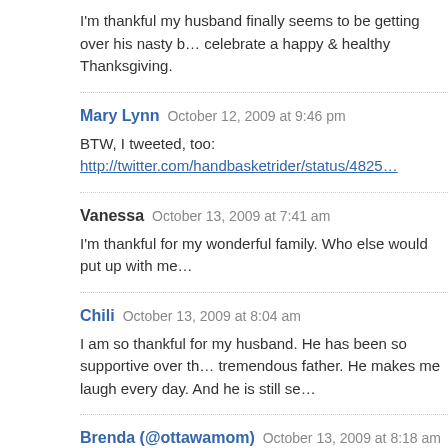I'm thankful my husband finally seems to be getting over his nasty b… celebrate a happy & healthy Thanksgiving.
Mary Lynn  October 12, 2009 at 9:46 pm
BTW, I tweeted, too: http://twitter.com/handbasketrider/status/4825…
Vanessa  October 13, 2009 at 7:41 am
I'm thankful for my wonderful family. Who else would put up with me…
Chili  October 13, 2009 at 8:04 am
I am so thankful for my husband. He has been so supportive over th… tremendous father. He makes me laugh every day. And he is still se…
Brenda (@ottawamom)  October 13, 2009 at 8:18 am